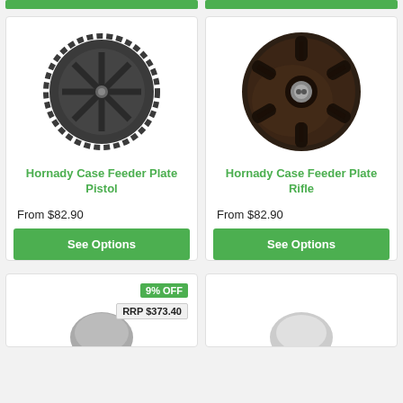[Figure (photo): Green 'See Options' button (top left, partially visible)]
[Figure (photo): Green 'See Options' button (top right, partially visible)]
[Figure (photo): Hornady Case Feeder Plate Pistol product photo - black circular serrated gear-like plate]
Hornady Case Feeder Plate Pistol
From $82.90
See Options
[Figure (photo): Hornady Case Feeder Plate Rifle product photo - dark brown circular plate with 6 tubular handles and center bolt]
Hornady Case Feeder Plate Rifle
From $82.90
See Options
9% OFF
RRP $373.40
[Figure (photo): Partially visible product image in bottom-left card]
[Figure (photo): Partially visible product image in bottom-right card]